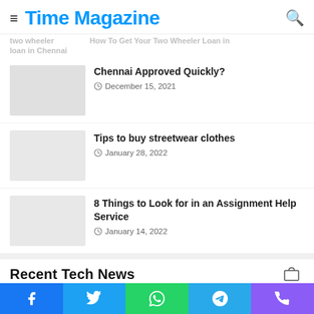Time Magazine
two wheeler loan in Chennai
How To Get Your Two Wheeler Loan in Chennai Approved Quickly?
December 15, 2021
Tips to buy streetwear clothes
January 28, 2022
8 Things to Look for in an Assignment Help Service
January 14, 2022
Recent Tech News